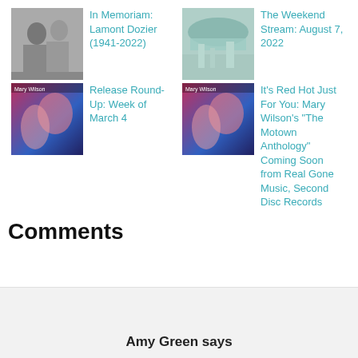[Figure (photo): Black and white photo of two people]
In Memoriam: Lamont Dozier (1941-2022)
[Figure (photo): Color photo of a waterfall or stream in nature]
The Weekend Stream: August 7, 2022
[Figure (photo): Album cover - Mary Wilson Motown Anthology, colorful]
Release Round-Up: Week of March 4
[Figure (photo): Album cover - Mary Wilson Motown Anthology, colorful]
It's Red Hot Just For You: Mary Wilson's "The Motown Anthology" Coming Soon from Real Gone Music, Second Disc Records
Comments
Amy Green says